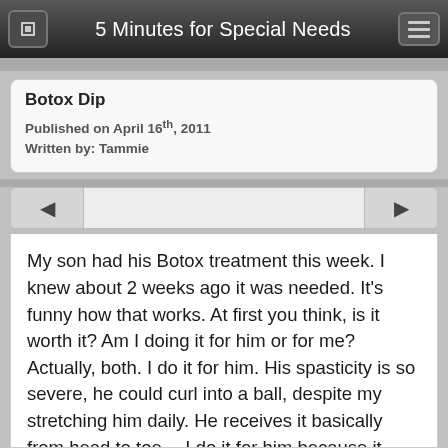5 Minutes for Special Needs
Botox Dip
Published on April 16th, 2011
Written by: Tammie
My son had his Botox treatment this week. I knew about 2 weeks ago it was needed. It's funny how that works. At first you think, is it worth it? Am I doing it for him or for me? Actually, both. I do it for him. His spasticity is so severe, he could curl into a ball, despite my stretching him daily. He receives it basically from head to toe… I do it for him because it loosens up his shoulders and chest to the point we can move his arms around, up and down, stretching out the elbows…we must, we must, we must increase our bust. He receives Botox in his jaw to stop the teeth grinding and it's helped with chewing textures 🙂 . His shoulder blades get shots to loosen his shoulders for dressing and coats. Oh how helpful that is in the winter with the dreaded coat. The abductors no longer receive Botox but they once did, now the receive nerve